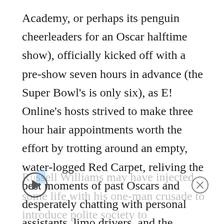Academy, or perhaps its penguin cheerleaders for an Oscar halftime show), officially kicked off with a pre-show seven hours in advance (the Super Bowl's is only six), as E! Online's hosts strived to make three hour hair appointments worth the effort by trotting around an empty, water-logged Red Carpet, reliving the best moments of past Oscars and desperately chatting with personal assistants, limo drivers, and the broom-wielding officials charged with keeping the plush runner safe for four-inch Manolos and Liza Minnellis. The actual red carpet arrivals were less eventful.
Russell Williams may have injected some life with his one-man crusade to introduce polite society to